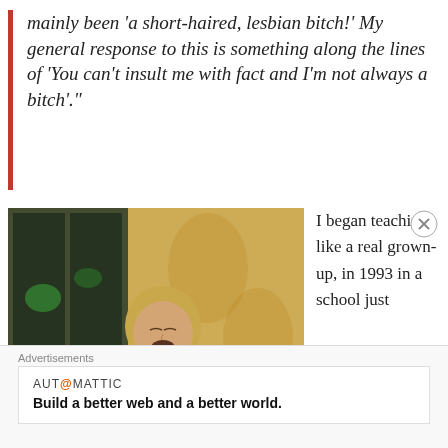mainly been 'a short-haired, lesbian bitch!' My general response to this is something along the lines of 'You can't insult me with fact and I'm not always a bitch'."
[Figure (photo): A blond person singing into a microphone with eyes closed, wearing a dark top, in front of a patterned golden background.]
I began teaching, like a real grown-up, in 1993 in a school just
Advertisements
AUTOMATTIC
Build a better web and a better world.